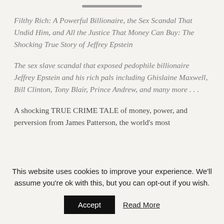Filthy Rich: A Powerful Billionaire, the Sex Scandal That Undid Him, and All the Justice That Money Can Buy: The Shocking True Story of Jeffrey Epstein
The sex slave scandal that exposed pedophile billionaire Jeffrey Epstein and his rich pals including Ghislaine Maxwell, Bill Clinton, Tony Blair, Prince Andrew, and many more . . .
A shocking TRUE CRIME TALE of money, power, and perversion from James Patterson, the world's most
This website uses cookies to improve your experience. We'll assume you're ok with this, but you can opt-out if you wish.
Accept
Read More